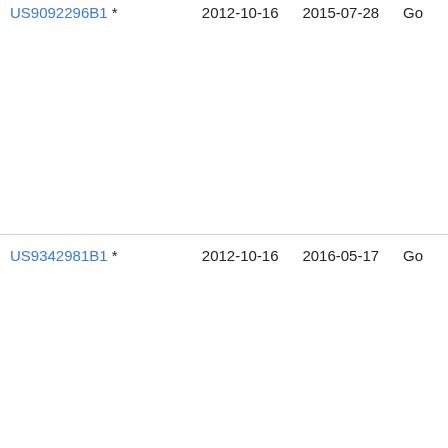| Patent | Filing Date | Publication Date | Assignee |
| --- | --- | --- | --- |
| US9092296B1 * | 2012-10-16 | 2015-07-28 | Go... |
| US9342981B1 * | 2012-10-16 | 2016-05-17 | Go... |
| US20170362893A1 * | 2014-06-23 | 2017-12-21 | Lut Co. |
| CN109768968A * | 2018-12-19 | 2019-05-17 | □□□□ |